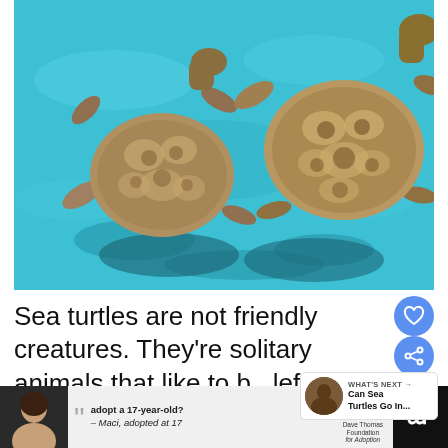[Figure (photo): Two sea turtles swimming underwater, viewed from above in clear turquoise blue water with sandy bottom visible beneath them. Both turtles have patterned shells with brown and yellow markings.]
Sea turtles are not friendly creatures. They're solitary animals that like to be left alone. In the wild, they only come together to mate.
[Figure (infographic): WHAT'S NEXT → Can Sea Turtles Go In... panel with a circular thumbnail image of a person]
[Figure (infographic): Advertisement banner at bottom: adopt a 17-year-old? – Maci, adopted at 17. Dave Thomas Foundation for Adoption logo. Shows woman's photo on left and weather icon on right.]